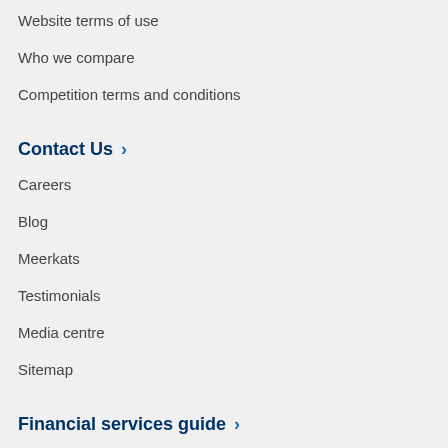Website terms of use
Who we compare
Competition terms and conditions
Contact Us
Careers
Blog
Meerkats
Testimonials
Media centre
Sitemap
Financial services guide
Credit guide
Financial Consciousness Index